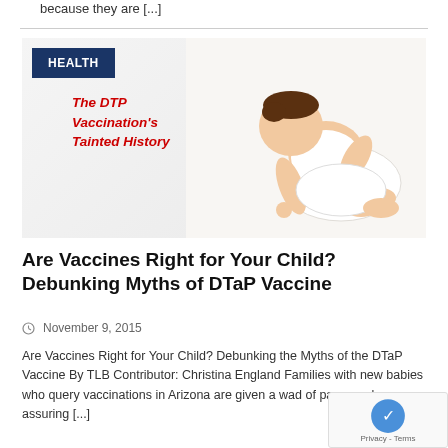because they are [...]
[Figure (photo): Baby crawling on white background with text overlay 'The DTP Vaccination's Tainted History' in red. Dark blue 'HEALTH' badge overlaid on top-left corner.]
Are Vaccines Right for Your Child? Debunking Myths of DTaP Vaccine
November 9, 2015
Are Vaccines Right for Your Child? Debunking the Myths of the DTaP Vaccine By TLB Contributor: Christina England Families with new babies who query vaccinations in Arizona are given a wad of paperwork assuring [...]